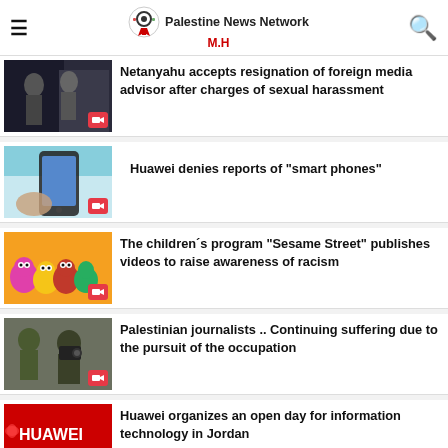Palestine News Network M.H
Netanyahu accepts resignation of foreign media advisor after charges of sexual harassment
Huawei denies reports of "smart phones"
The children´s program "Sesame Street" publishes videos to raise awareness of racism
Palestinian journalists .. Continuing suffering due to the pursuit of the occupation
Huawei organizes an open day for information technology in Jordan